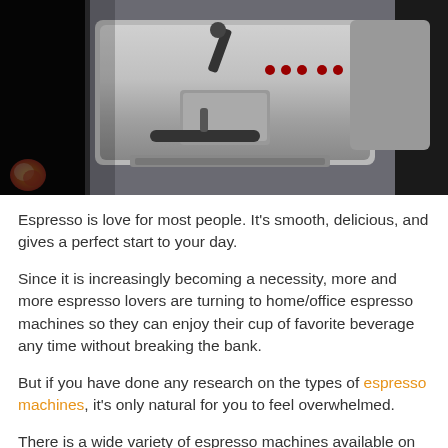[Figure (photo): Close-up photograph of commercial espresso machines with chrome/stainless steel finish, showing group heads, handles, and brewing components. A coffee bean logo watermark appears in the bottom-left corner of the image.]
Espresso is love for most people. It's smooth, delicious, and gives a perfect start to your day.
Since it is increasingly becoming a necessity, more and more espresso lovers are turning to home/office espresso machines so they can enjoy their cup of favorite beverage any time without breaking the bank.
But if you have done any research on the types of espresso machines, it's only natural for you to feel overwhelmed.
There is a wide variety of espresso machines available on the market with each one with unique features and varying mechanisms. But don't worry.To help you better understand different types of espresso machines and...